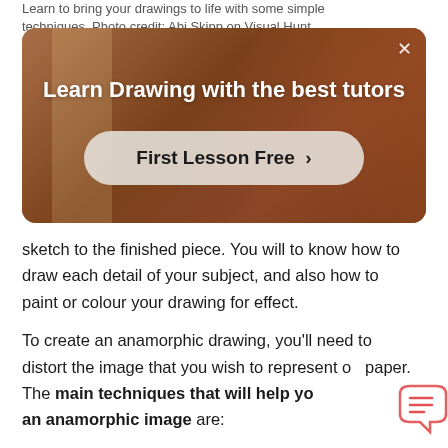Learn to bring your drawings to life with some simple techniques. Photo credit: Abi Skipp on Visual Hunt
[Figure (screenshot): Advertisement banner for drawing tutors with text 'Learn Drawing with the best tutors' and a 'First Lesson Free >' button, with a person drawing in the background]
sketch to the finished piece. You will to know how to draw each detail of your subject, and also how to paint or colour your drawing for effect.
To create an anamorphic drawing, you’ll need to distort the image that you wish to represent on paper. The main techniques that will help you create an anamorphic image are: